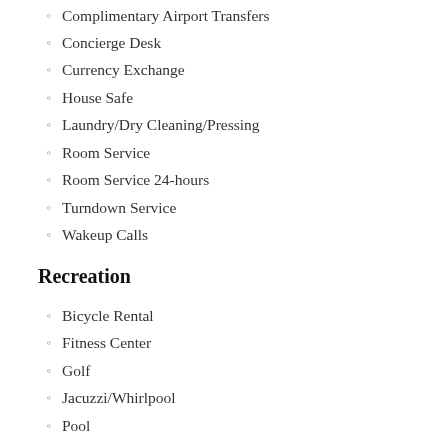Complimentary Airport Transfers
Concierge Desk
Currency Exchange
House Safe
Laundry/Dry Cleaning/Pressing
Room Service
Room Service 24-hours
Turndown Service
Wakeup Calls
Recreation
Bicycle Rental
Fitness Center
Golf
Jacuzzi/Whirlpool
Pool
Spa
Tennis Courts
In Your Room